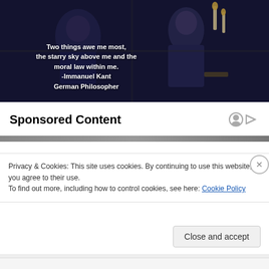[Figure (photo): Dark dramatic scene with two figures (a man and a woman with candles) behind glass or a window, with a quote overlaid in white bold text: 'Two things awe me most, the starry sky above me and the moral law within me. -Immanuel Kant German Philosopher']
Sponsored Content
Privacy & Cookies: This site uses cookies. By continuing to use this website, you agree to their use.
To find out more, including how to control cookies, see here: Cookie Policy